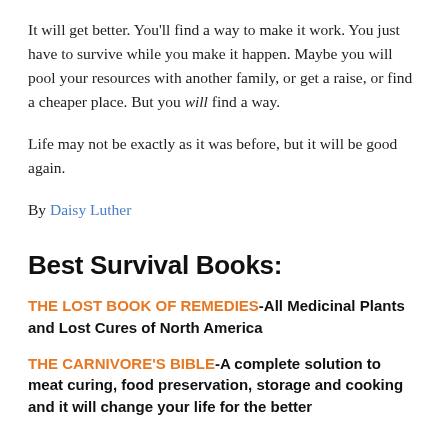It will get better. You'll find a way to make it work. You just have to survive while you make it happen. Maybe you will pool your resources with another family, or get a raise, or find a cheaper place. But you will find a way.
Life may not be exactly as it was before, but it will be good again.
By Daisy Luther
Best Survival Books:
THE LOST BOOK OF REMEDIES-All Medicinal Plants and Lost Cures of North America
THE CARNIVORE'S BIBLE-A complete solution to meat curing, food preservation, storage and cooking and it will change your life for the better